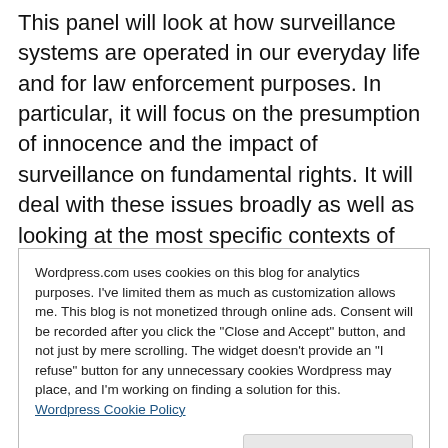This panel will look at how surveillance systems are operated in our everyday life and for law enforcement purposes. In particular, it will focus on the presumption of innocence and the impact of surveillance on fundamental rights. It will deal with these issues broadly as well as looking at the most specific contexts of the use and deployment of surveillance measures in pre-trial and post-trial contexts. Specific surveillance technologies and practices will be examined, such as CCTVs and electronic
Wordpress.com uses cookies on this blog for analytics purposes. I've limited them as much as customization allows me. This blog is not monetized through online ads. Consent will be recorded after you click the "Close and Accept" button, and not just by mere scrolling. The widget doesn't provide an "I refuse" button for any unnecessary cookies Wordpress may place, and I'm working on finding a solution for this. Wordpress Cookie Policy
of innocence?